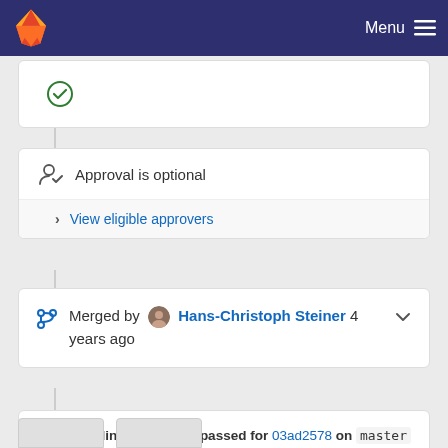[Figure (screenshot): GitLab navigation bar with fox logo and Menu hamburger icon]
[Figure (screenshot): Green check circle icon in a white card (partial)]
Approval is optional
View eligible approvers
Merged by Hans-Christoph Steiner 4 years ago
Pipeline #21132322 passed for 03ad2578 on master 4 years ago